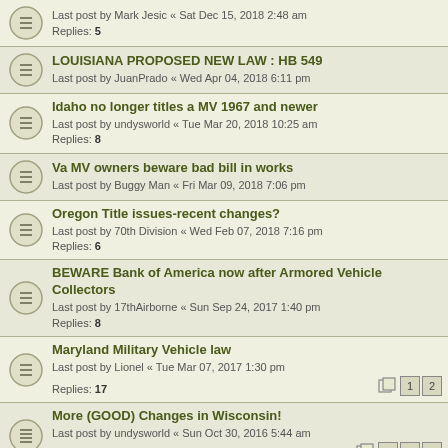Last post by Mark Jesic « Sat Dec 15, 2018 2:48 am
Replies: 5
LOUISIANA PROPOSED NEW LAW : HB 549
Last post by JuanPrado « Wed Apr 04, 2018 6:11 pm
Idaho no longer titles a MV 1967 and newer
Last post by undysworld « Tue Mar 20, 2018 10:25 am
Replies: 8
Va MV owners beware bad bill in works
Last post by Buggy Man « Fri Mar 09, 2018 7:06 pm
Oregon Title issues-recent changes?
Last post by 70th Division « Wed Feb 07, 2018 7:16 pm
Replies: 6
BEWARE Bank of America now after Armored Vehicle Collectors
Last post by 17thAirborne « Sun Sep 24, 2017 1:40 pm
Replies: 8
Maryland Military Vehicle law
Last post by Lionel « Tue Mar 07, 2017 1:30 pm
Replies: 17
More (GOOD) Changes in Wisconsin!
Last post by undysworld « Sun Oct 30, 2016 5:44 am
Replies: 35
Does DUKW without armor requires export licence?
Last post by chasendeer « Wed Aug 03, 2016 9:29 pm
Replies: 9
Import WW2 Jeep from France back to US.
Last post by Marty, SoCal « Wed Jun 22, 2016 8:39 pm
Replies: 11